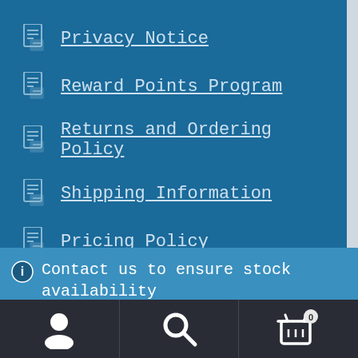Privacy Notice
Reward Points Program
Returns and Ordering Policy
Shipping Information
Pricing Policy
Contact us to ensure stock availability and shipping time. Dismiss
[Figure (infographic): Bottom navigation bar with user account icon, search icon, and shopping cart icon with badge showing 0]